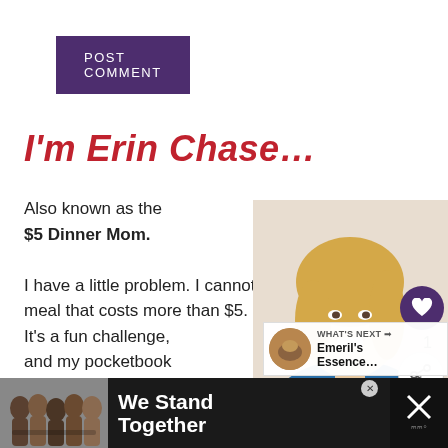[Figure (screenshot): Purple POST COMMENT button]
I'm Erin Chase…
Also known as the $5 Dinner Mom. I have a little problem. I cannot make a meal that costs more than $5. It's a fun challenge, and my pocketbook
[Figure (photo): Blonde woman smiling, wearing blue top]
[Figure (infographic): What's Next panel: Emeril's Essence...]
[Figure (infographic): We Stand Together advertisement banner at bottom]